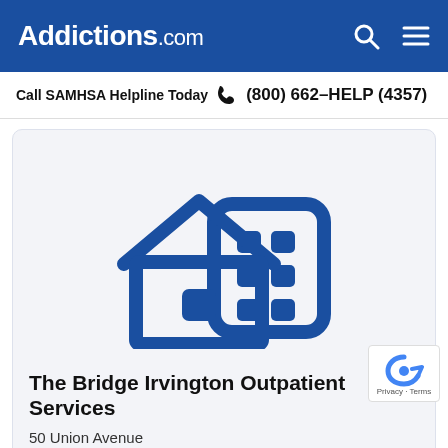Addictions.com
Call SAMHSA Helpline Today  (800) 662-HELP (4357)
[Figure (illustration): Icon of a house and a building/office tower in dark blue, representing a residential and outpatient treatment facility]
The Bridge Irvington Outpatient Services
50 Union Avenue
Irvington, NJ 07111